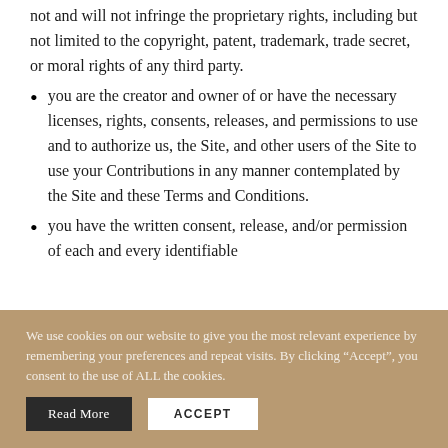not and will not infringe the proprietary rights, including but not limited to the copyright, patent, trademark, trade secret, or moral rights of any third party.
you are the creator and owner of or have the necessary licenses, rights, consents, releases, and permissions to use and to authorize us, the Site, and other users of the Site to use your Contributions in any manner contemplated by the Site and these Terms and Conditions.
you have the written consent, release, and/or permission of each and every identifiable
We use cookies on our website to give you the most relevant experience by remembering your preferences and repeat visits. By clicking “Accept”, you consent to the use of ALL the cookies.